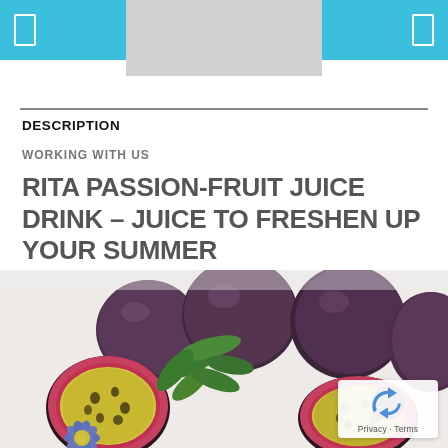[ ] [Logo Placeholder] [ ]
DESCRIPTION
WORKING WITH US
RITA PASSION-FRUIT JUICE DRINK – JUICE TO FRESHEN UP YOUR SUMMER
[Figure (photo): Close-up photo of passion fruits — whole dark purple fruits, halved fruits showing yellow seedy interior, green leaves and a blue passion flower blossom on a white background.]